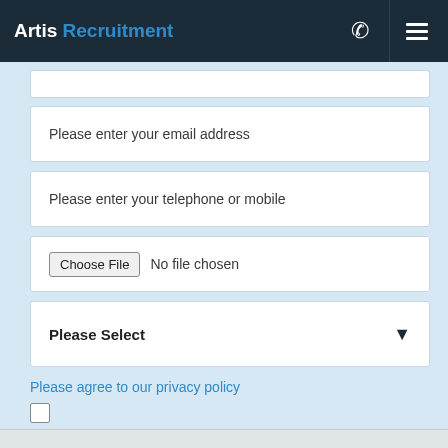Artis Recruitment
[Figure (screenshot): Web form with email, telephone, file upload, select dropdown, privacy policy checkbox, and submit button on Artis Recruitment website]
Please enter your email address
Please enter your telephone or mobile
Choose File  No file chosen
Please Select
Please agree to our privacy policy
Submit